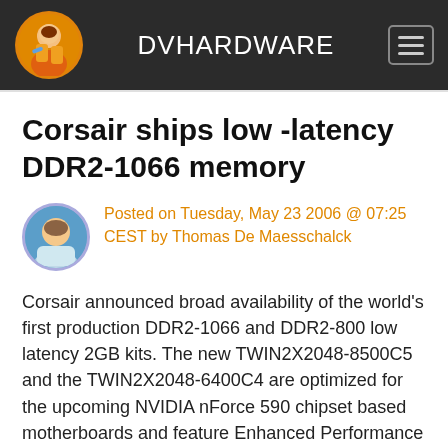DVHARDWARE
Corsair ships low -latency DDR2-1066 memory
Posted on Tuesday, May 23 2006 @ 07:25 CEST by Thomas De Maesschalck
Corsair announced broad availability of the world's first production DDR2-1066 and DDR2-800 low latency 2GB kits. The new TWIN2X2048-8500C5 and the TWIN2X2048-6400C4 are optimized for the upcoming NVIDIA nForce 590 chipset based motherboards and feature Enhanced Performance Profiles (EPP).